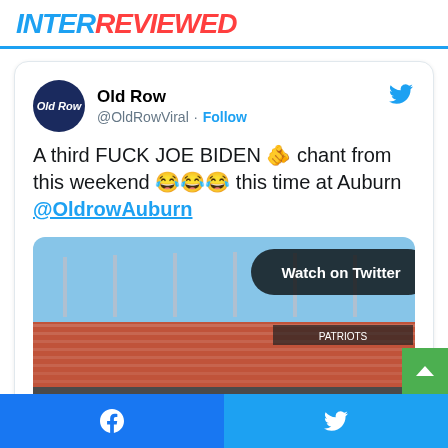INTERREVIEWED
Old Row @OldRowViral · Follow
A third FUCK JOE BIDEN 🫵 chant from this weekend 😂😂😂 this time at Auburn @OldrowAuburn
[Figure (screenshot): Stadium video thumbnail with crowd at Auburn, showing 'Watch on Twitter' button overlay]
Facebook share | Twitter share buttons